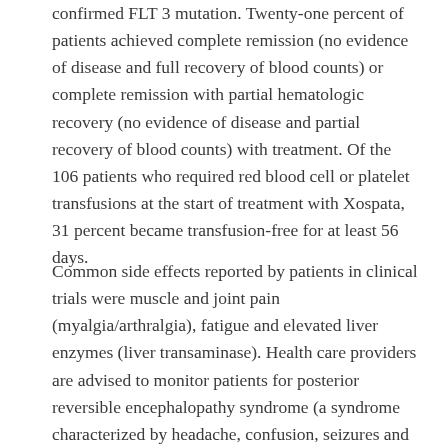confirmed FLT 3 mutation. Twenty-one percent of patients achieved complete remission (no evidence of disease and full recovery of blood counts) or complete remission with partial hematologic recovery (no evidence of disease and partial recovery of blood counts) with treatment. Of the 106 patients who required red blood cell or platelet transfusions at the start of treatment with Xospata, 31 percent became transfusion-free for at least 56 days.
Common side effects reported by patients in clinical trials were muscle and joint pain (myalgia/arthralgia), fatigue and elevated liver enzymes (liver transaminase). Health care providers are advised to monitor patients for posterior reversible encephalopathy syndrome (a syndrome characterized by headache, confusion, seizures and visual loss), prolonged QT interval (a heart rhythm condition that can potentially cause fast, chaotic heartbeats) and pancreatitis (inflammation in the